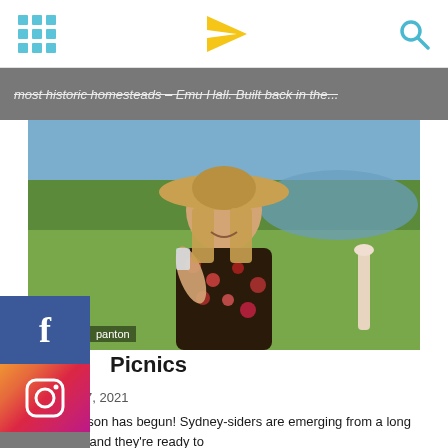[navigation bar with grid icon, paper plane logo, search icon]
most historic homesteads – Emu Hall. Built back in the...
[Figure (photo): Woman wearing a wide-brimmed straw hat, floral dress, holding a glass, smiling outdoors near a lake with green grass background. Social media share icons (Facebook, Instagram, email) overlaid on left side.]
panton
Picnics
October 17, 2021
Picnic season has begun! Sydney-siders are emerging from a long lockdown, and they're ready to picnic.https://youtu.be/8fwVv2mDBKQFor all you picnic hamper needs, Frank's Deli has you...